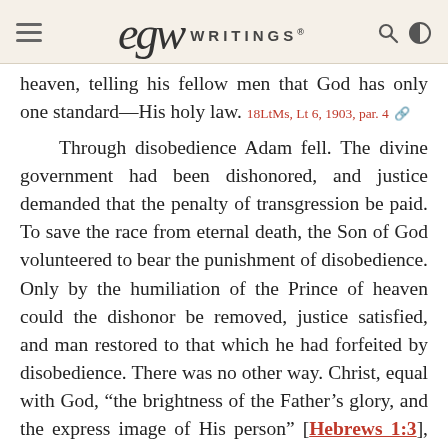EGW WRITINGS®
heaven, telling his fellow men that God has only one standard—His holy law. 18LtMs, Lt 6, 1903, par. 4
Through disobedience Adam fell. The divine government had been dishonored, and justice demanded that the penalty of transgression be paid. To save the race from eternal death, the Son of God volunteered to bear the punishment of disobedience. Only by the humiliation of the Prince of heaven could the dishonor be removed, justice satisfied, and man restored to that which he had forfeited by disobedience. There was no other way. Christ, equal with God, "the brightness of the Father's glory, and the express image of His person" [Hebrews 1:3], clothed His divinity with humanity and came to this earth to suffer and die for man. For every one of the